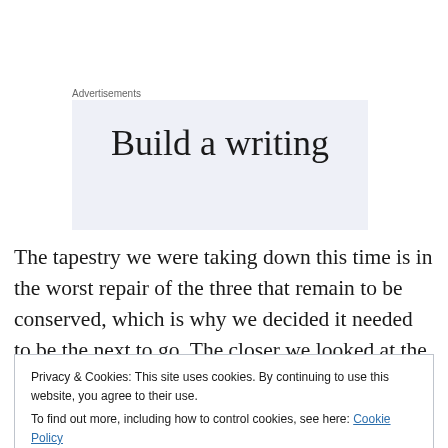Advertisements
[Figure (other): Advertisement box with light blue-grey background showing text 'Build a writing' with more text cut off below]
The tapestry we were taking down this time is in the worst repair of the three that remain to be conserved, which is why we decided it needed to be the next to go. The closer we looked at the tapestry, the worse the damage is!
Privacy & Cookies: This site uses cookies. By continuing to use this website, you agree to their use.
To find out more, including how to control cookies, see here: Cookie Policy
Close and accept
[Figure (photo): Partial photo of a tapestry visible at the bottom of the page]